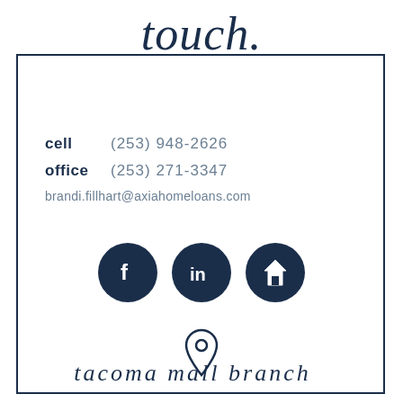touch.
cell  (253) 948-2626
office  (253) 271-3347
brandi.fillhart@axiahomeloans.com
[Figure (illustration): Three social media icons: Facebook (f), LinkedIn (in), and Zillow (z) as dark navy circular buttons]
[Figure (illustration): Location pin / map marker icon outline in navy]
tacoma mall branch